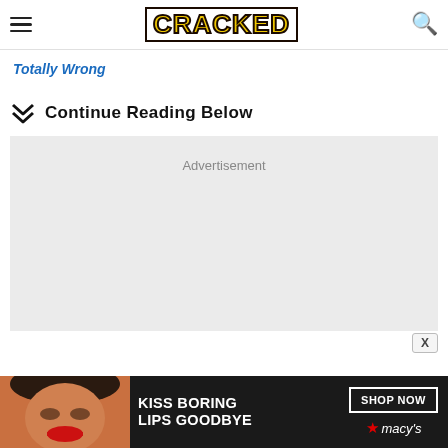CRACKED
Totally Wrong
Continue Reading Below
[Figure (other): Advertisement placeholder box with gray background]
[Figure (other): Bottom banner advertisement: KISS BORING LIPS GOODBYE - SHOP NOW - macy's]